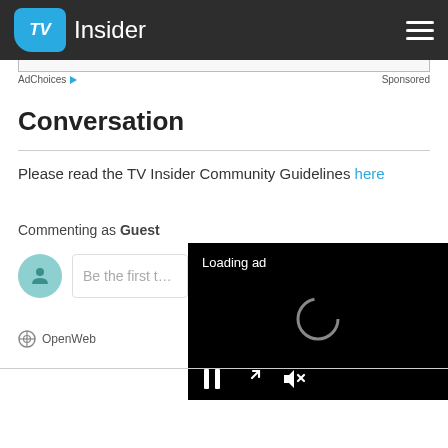TV Insider
AdChoices   Sponsored
Conversation
Please read the TV Insider Community Guidelines here
Commenting as Guest
Be the first to...
[Figure (screenshot): Loading ad video player overlay with spinner and playback controls (pause, expand, mute)]
OpenWeb